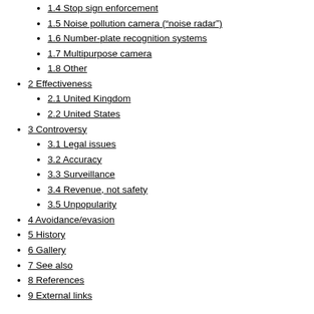1.4 Stop sign enforcement
1.5 Noise pollution camera (“noise radar”)
1.6 Number-plate recognition systems
1.7 Multipurpose camera
1.8 Other
2 Effectiveness
2.1 United Kingdom
2.2 United States
3 Controversy
3.1 Legal issues
3.2 Accuracy
3.3 Surveillance
3.4 Revenue, not safety
3.5 Unpopularity
4 Avoidance/evasion
5 History
6 Gallery
7 See also
8 References
9 External links
Types[edit]